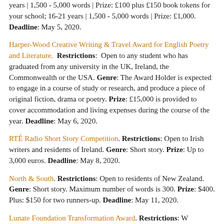years | 1,500 - 5,000 words | Prize: £100 plus £150 book tokens for your school; 16-21 years | 1,500 - 5,000 words | Prize: £1,000. Deadline: May 5, 2020.
Harper-Wood Creative Writing & Travel Award for English Poetry and Literature. Restrictions: Open to any student who has graduated from any university in the UK, Ireland, the Commonwealth or the USA. Genre: The Award Holder is expected to engage in a course of study or research, and produce a piece of original fiction, drama or poetry. Prize: £15,000 is provided to cover accommodation and living expenses during the course of the year. Deadline: May 6, 2020.
RTÉ Radio Short Story Competition. Restrictions: Open to Irish writers and residents of Ireland. Genre: Short story. Prize: Up to 3,000 euros. Deadline: May 8, 2020.
North & South. Restrictions: Open to residents of New Zealand. Genre: Short story. Maximum number of words is 300. Prize: $400. Plus: $150 for two runners-up. Deadline: May 11, 2020.
Lunate Foundation Transformation Award. Restrictions: W...